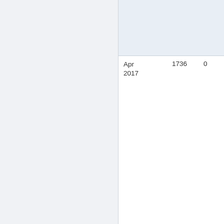| Date | Value1 | Value2 |
| --- | --- | --- |
| Apr 2017 | 1736 | 0 |
| Mar 2017 | 2722 | 0 |